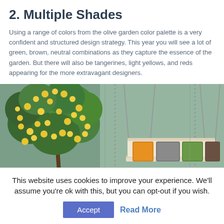2. Multiple Shades
Using a range of colors from the olive garden color palette is a very confident and structured design strategy. This year you will see a lot of green, brown, neutral combinations as they capture the essence of the garden. But there will also be tangerines, light yellows, and reds appearing for the more extravagant designers.
[Figure (photo): A hanging porch swing with colorful cushions (orange, grey, green, brown) against a mint/sage green textured wall, with a leafy tree bearing yellow fruits (lemons or similar) on the left side.]
This website uses cookies to improve your experience. We'll assume you're ok with this, but you can opt-out if you wish.
Accept   Read More